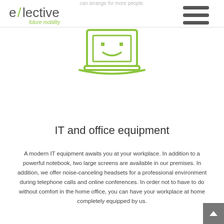elective future mobility
[Figure (illustration): Green outline icon of a laptop computer with a simple smiley face on screen]
IT and office equipment
A modern IT equipment awaits you at your workplace. In addition to a powerful notebook, two large screens are available in our premises. In addition, we offer noise-canceling headsets for a professional environment during telephone calls and online conferences. In order not to have to do without comfort in the home office, you can have your workplace at home completely equipped by us.